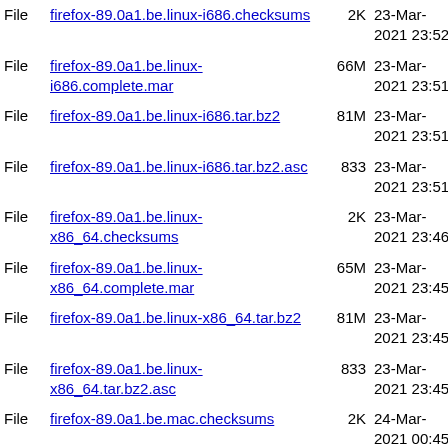| Type | Name | Size | Date |
| --- | --- | --- | --- |
| File | firefox-89.0a1.be.linux-i686.checksums | 2K | 23-Mar-2021 23:52 |
| File | firefox-89.0a1.be.linux-i686.complete.mar | 66M | 23-Mar-2021 23:51 |
| File | firefox-89.0a1.be.linux-i686.tar.bz2 | 81M | 23-Mar-2021 23:51 |
| File | firefox-89.0a1.be.linux-i686.tar.bz2.asc | 833 | 23-Mar-2021 23:51 |
| File | firefox-89.0a1.be.linux-x86_64.checksums | 2K | 23-Mar-2021 23:46 |
| File | firefox-89.0a1.be.linux-x86_64.complete.mar | 65M | 23-Mar-2021 23:45 |
| File | firefox-89.0a1.be.linux-x86_64.tar.bz2 | 81M | 23-Mar-2021 23:45 |
| File | firefox-89.0a1.be.linux-x86_64.tar.bz2.asc | 833 | 23-Mar-2021 23:45 |
| File | firefox-89.0a1.be.mac.checksums | 2K | 24-Mar-2021 00:45 |
| File | firefox-89.0a1.be.mac.complete.mar | 105M | 24-Mar-2021 00:43 |
| File | firefox-89.0a1.be.mac.dmg | 140M | 24-Mar-2021 00:43 |
| File | firefox-89.0a1.be.mac.pkg | 147M | 24-Mar- |